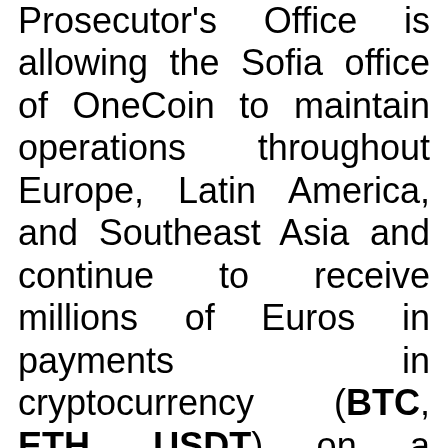Prosecutor's Office is allowing the Sofia office of OneCoin to maintain operations throughout Europe, Latin America, and Southeast Asia and continue to receive millions of Euros in payments in cryptocurrency (BTC, ETH, USDT) on a monthly basis from new victims.
Levy concludes his letter by urging the Bulgarian government to launch a probe into the prosecutor's conduct.
What are your thoughts on this story? Tell us what you think in the comments section below.
[Figure (photo): Head and shoulders photo of a person cropped at the bottom of the page]